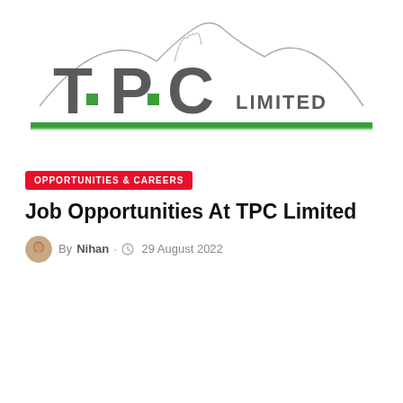[Figure (logo): TPC Limited company logo with mountain silhouette outline at top, large grey letters T P C with green square accents, and 'LIMITED' text to the right, with a green horizontal bar beneath]
OPPORTUNITIES & CAREERS
Job Opportunities At TPC Limited
By Nihan · 29 August 2022